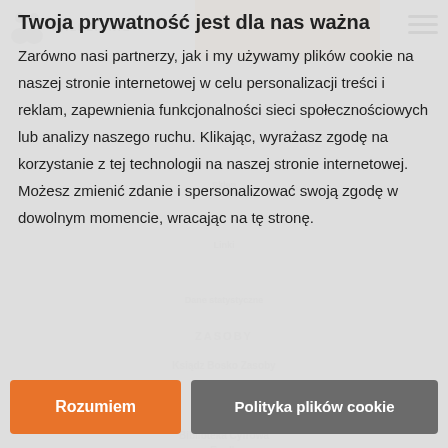[Figure (screenshot): Background website of Salezianie with navigation bar, orange accent, hamburger menu, and faded navigation links]
Twoja prywatność jest dla nas ważna
Zarówno nasi partnerzy, jak i my używamy plików cookie na naszej stronie internetowej w celu personalizacji treści i reklam, zapewnienia funkcjonalności sieci społecznościowych lub analizy naszego ruchu. Klikając, wyrażasz zgodę na korzystanie z tej technologii na naszej stronie internetowej. Możesz zmienić zdanie i spersonalizować swoją zgodę w dowolnym momencie, wracając na tę stronę.
Rozumiem
Polityka plików cookie